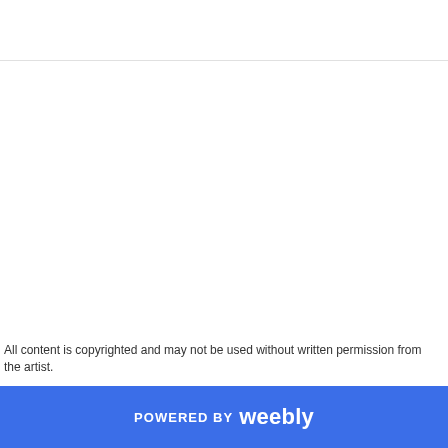All content is copyrighted and may not be used without written permission from the artist.
POWERED BY weebly